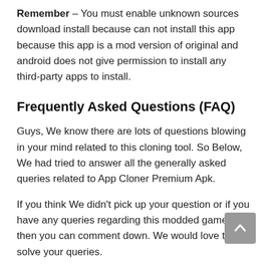Remember – You must enable unknown sources download install because can not install this app because this app is a mod version of original and android does not give permission to install any third-party apps to install.
Frequently Asked Questions (FAQ)
Guys, We know there are lots of questions blowing in your mind related to this cloning tool. So Below, We had tried to answer all the generally asked queries related to App Cloner Premium Apk.
If you think We didn't pick up your question or if you have any queries regarding this modded game, then you can comment down. We would love to solve your queries.
Is it safe to use this Mod Apk?